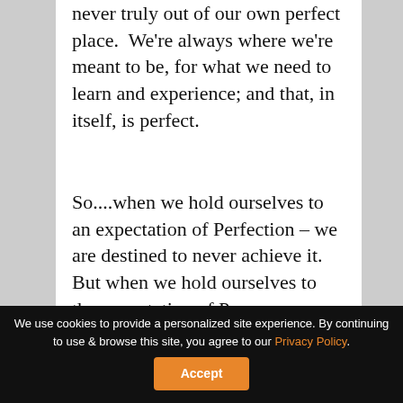never truly out of our own perfect place.  We're always where we're meant to be, for what we need to learn and experience; and that, in itself, is perfect.
So....when we hold ourselves to an expectation of Perfection – we are destined to never achieve it.  But when we hold ourselves to the expectation of Progress, we are, in fact, perfect.
We use cookies to provide a personalized site experience. By continuing to use & browse this site, you agree to our Privacy Policy. Accept